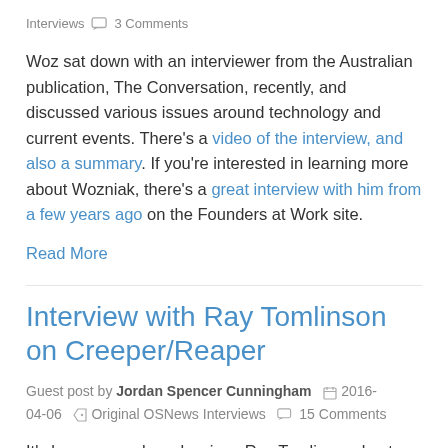Interviews  3 Comments
Woz sat down with an interviewer from the Australian publication, The Conversation, recently, and discussed various issues around technology and current events. There's a video of the interview, and also a summary. If you're interested in learning more about Wozniak, there's a great interview with him from a few years ago on the Founders at Work site.
Read More
Interview with Ray Tomlinson on Creeper/Reaper
Guest post by Jordan Spencer Cunningham  2016-04-06  Original OSNews Interviews  15 Comments
It's been several weeks since Ray Tomlinson, best known